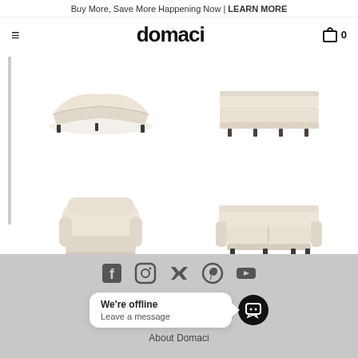Buy More, Save More Happening Now | LEARN MORE
domaci
[Figure (photo): Product grid showing four furniture items: curved sectional sofa (top-left), low-profile sofa/bench (top-right), rounded armchair (bottom-left), two-seat sofa (bottom-right)]
[Figure (infographic): Social media icons: Facebook, Instagram, Twitter, Pinterest, YouTube]
We're offline
Leave a message
About Domaci